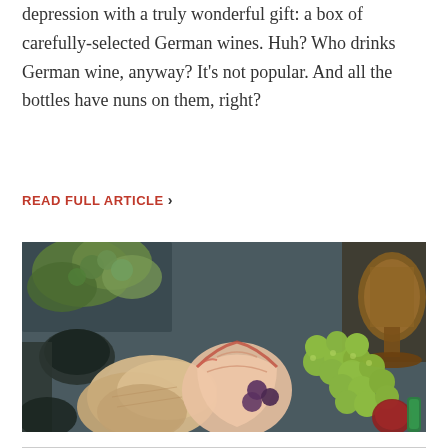depression with a truly wonderful gift: a box of carefully-selected German wines. Huh? Who drinks German wine, anyway? It's not popular. And all the bottles have nuns on them, right?
READ FULL ARTICLE ›
[Figure (photo): Overhead photo of a charcuterie/fruit platter on a dark slate surface, featuring green grapes, sliced apples, crackers, with fresh herbs in the background and an amber wine goblet in the upper right corner.]